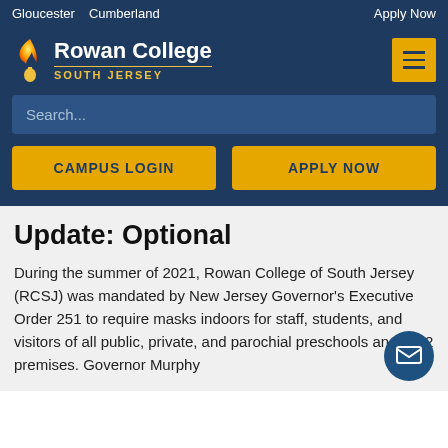Gloucester  Cumberland    Apply Now
[Figure (logo): Rowan College South Jersey logo with flame/torch icon]
Search...
CAMPUS LOGIN
APPLY NOW
Update: Optional
During the summer of 2021, Rowan College of South Jersey (RCSJ) was mandated by New Jersey Governor's Executive Order 251 to require masks indoors for staff, students, and visitors of all public, private, and parochial preschools and K-12 premises. Governor Murphy